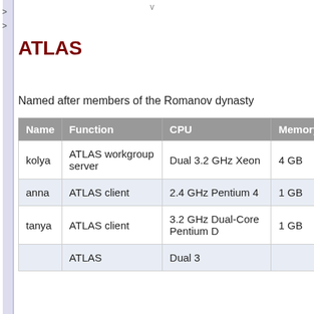ATLAS
Named after members of the Romanov dynasty
| Name | Function | CPU | Memory |
| --- | --- | --- | --- |
| kolya | ATLAS workgroup server | Dual 3.2 GHz Xeon | 4 GB |
| anna | ATLAS client | 2.4 GHz Pentium 4 | 1 GB |
| tanya | ATLAS client | 3.2 GHz Dual-Core Pentium D | 1 GB |
|  | ATLAS | Dual 3 |  |